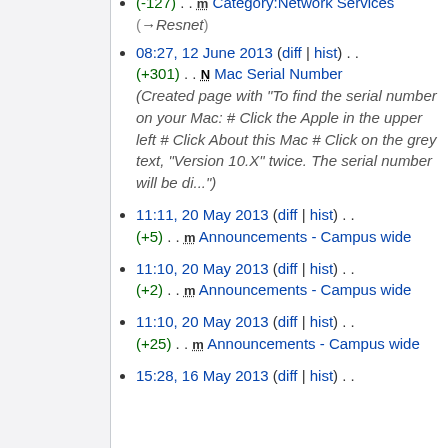(-127) . . m Category:Network Services (→Resnet)
08:27, 12 June 2013 (diff | hist) . . (+301) . . N Mac Serial Number (Created page with "To find the serial number on your Mac: # Click the Apple in the upper left # Click About this Mac # Click on the grey text, "Version 10.X" twice. The serial number will be di...")
11:11, 20 May 2013 (diff | hist) . . (+5) . . m Announcements - Campus wide
11:10, 20 May 2013 (diff | hist) . . (+2) . . m Announcements - Campus wide
11:10, 20 May 2013 (diff | hist) . . (+25) . . m Announcements - Campus wide
15:28, 16 May 2013 (diff | hist) . .